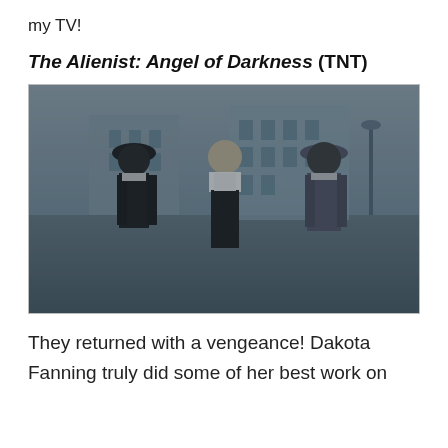my TV!
The Alienist: Angel of Darkness (TNT)
[Figure (photo): Three actors in period costume (late 19th century) standing on a city street. A man on the left wearing a black bowler hat and dark suit, a woman in the center in a white high-collar blouse and dark skirt, and a man on the right wearing a grey fedora and grey suit. The scene has a cool, blue-grey color tone.]
They returned with a vengeance! Dakota Fanning truly did some of her best work on